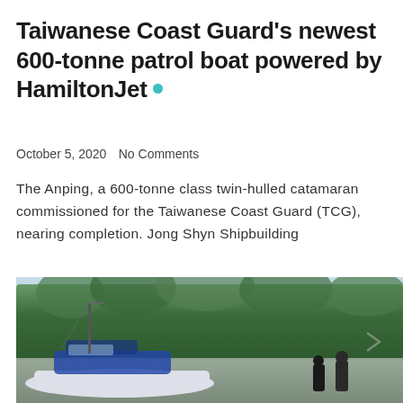Taiwanese Coast Guard's newest 600-tonne patrol boat powered by HamiltonJet
October 5, 2020   No Comments
The Anping, a 600-tonne class twin-hulled catamaran commissioned for the Taiwanese Coast Guard (TCG), nearing completion. Jong Shyn Shipbuilding
[Figure (photo): Photo of a patrol boat near a dock with trees in the background and two figures standing nearby]